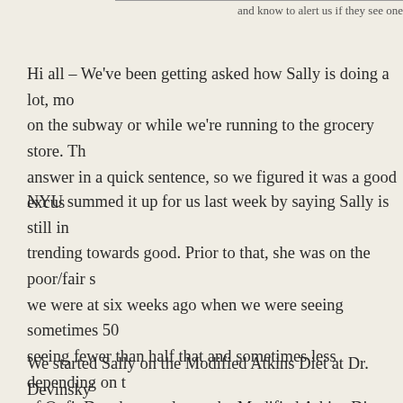and know to alert us if they see one
Hi all – We've been getting asked how Sally is doing a lot, mo on the subway or while we're running to the grocery store. Th answer in a quick sentence, so we figured it was a good excus
NYU summed it up for us last week by saying Sally is still in trending towards good. Prior to that, she was on the poor/fair s we were at six weeks ago when we were seeing sometimes 50 seeing fewer than half that and sometimes less depending on t of Onfi, Depakote and now the Modified Atkins Diet appear to downward spiral and she's been showing signs of improvemen her on cannabis for now so as not to make too many changes a trending in the right direction but still have to take it a day at a
We started Sally on the Modified Atkins Diet at Dr. Devinsky' In summary, the diet consists almost entirely of fat and a little cooked/soaked in fat. The challenge is that Sally is only perm